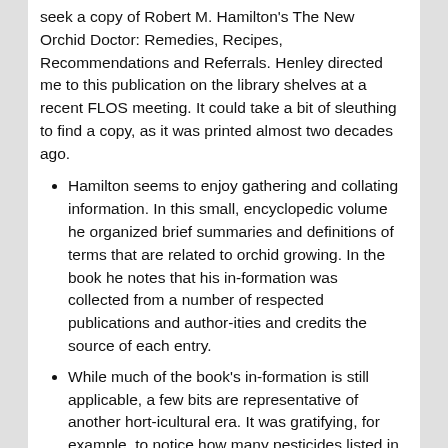seek a copy of Robert M. Hamilton's The New Orchid Doctor: Remedies, Recipes, Recommendations and Referrals. Henley directed me to this publication on the library shelves at a recent FLOS meeting. It could take a bit of sleuthing to find a copy, as it was printed almost two decades ago.
Hamilton seems to enjoy gathering and collating information. In this small, encyclopedic volume he organized brief summaries and definitions of terms that are related to orchid growing. In the book he notes that his in-formation was collected from a number of respected publications and author-ities and credits the source of each entry.
While much of the book's in-formation is still applicable, a few bits are representative of another hort-icultural era. It was gratifying, for example, to notice how many pesticides listed in the toxicity table are no longer available. Here is a sampling of the sort of entries he includes:
Age — expectations of plants = given proper culture, a sympodial orchid should live indefinitely — of individual plants = still in cultivation are various